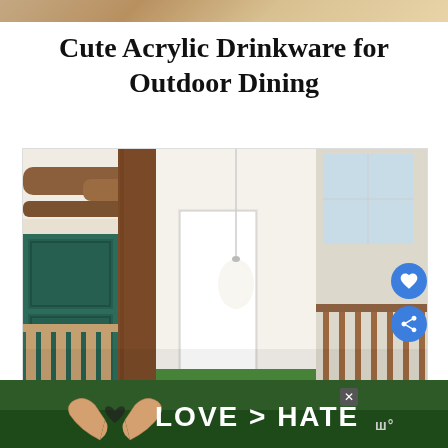[Figure (photo): Partial photo at top of page showing outdoor dining or food scene, cropped strip]
Cute Acrylic Drinkware for Outdoor Dining
[Figure (photo): Interior hallway/entryway photo showing wood beam ceiling, green paneled door, white pendant light fixture, and wood railing]
[Figure (photo): Ad banner at bottom: hands forming heart shape with text LOVE > HATE]